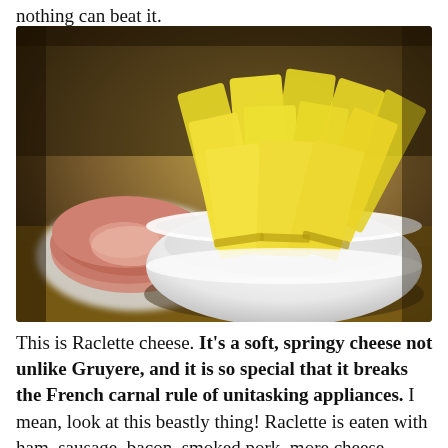nothing can beat it.
[Figure (photo): A white bowl filled with slices of yellow Raclette cheese, alongside a plate of sliced ham/meat in the background, on a wooden surface.]
This is Raclette cheese. It's a soft, springy cheese not unlike Gruyere, and it is so special that it breaks the French carnal rule of unitasking appliances. I mean, look at this beastly thing! Raclette is eaten with ham, sausage, bacon, smoked pork, more cheese, boiled...